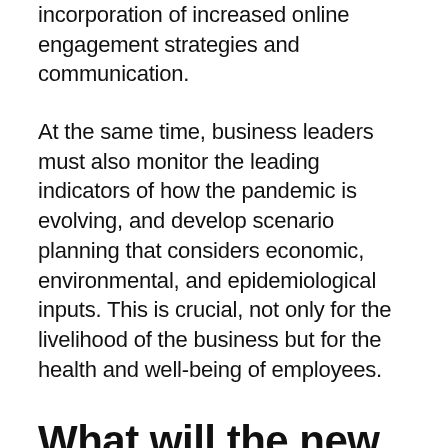...with these audiences, including the incorporation of increased online engagement strategies and communication.
At the same time, business leaders must also monitor the leading indicators of how the pandemic is evolving, and develop scenario planning that considers economic, environmental, and epidemiological inputs. This is crucial, not only for the livelihood of the business but for the health and well-being of employees.
What will the new normal look like?